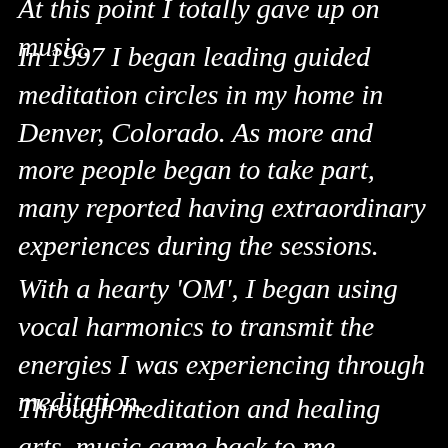At this point I totally gave up on music.
In 1997 I began leading guided meditation circles in my home in Denver, Colorado. As more and more people began to take part, many reported having extraordinary experiences during the sessions.
With a hearty 'OM', I began using vocal harmonics to transmit the energies I was experiencing through meditation.
Through meditation and healing arts, music came back to me.